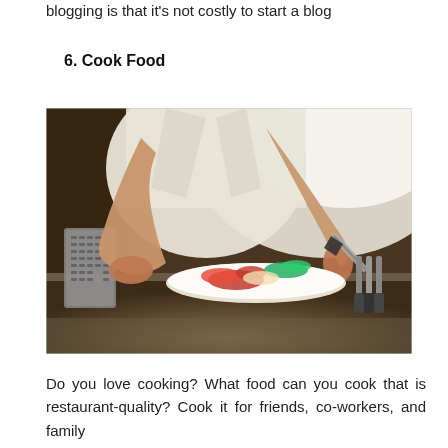blogging is that it's not costly to start a blog
6. Cook Food
[Figure (photo): A chef in white uniform preparing food on a plate, cutting ingredients with a knife on a metal kitchen counter. A grater is visible on the left, knives on the right. Food items including red peppers and greens are on a white plate.]
Do you love cooking? What food can you cook that is restaurant-quality? Cook it for friends, co-workers, and family